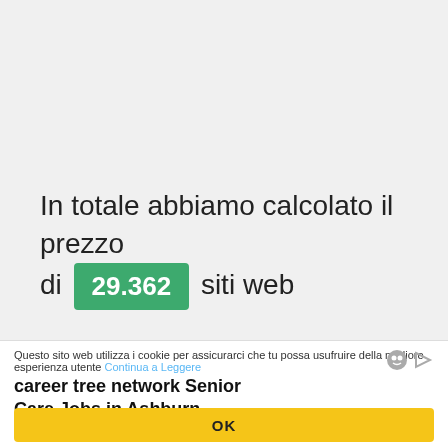In totale abbiamo calcolato il prezzo di 29.362 siti web
Questo sito web utilizza i cookie per assicurarci che tu possa usufruire della migliore esperienza utente Continua a Leggere
career tree network Senior Care Jobs in Ashburn… Sponsored | jobble.com
OK